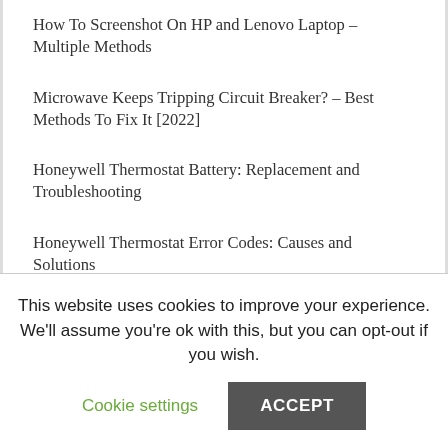How To Screenshot On HP and Lenovo Laptop – Multiple Methods
Microwave Keeps Tripping Circuit Breaker? – Best Methods To Fix It [2022]
Honeywell Thermostat Battery: Replacement and Troubleshooting
Honeywell Thermostat Error Codes: Causes and Solutions
Hulu Connection Error? – Here Are Best Methods to Fix It [2022]
LG TV Black Screen Of Death – Instant Fix [2022]
Soft white vs Daylight – Which One is Best For You? [2022]
This website uses cookies to improve your experience. We'll assume you're ok with this, but you can opt-out if you wish.
Cookie settings | ACCEPT